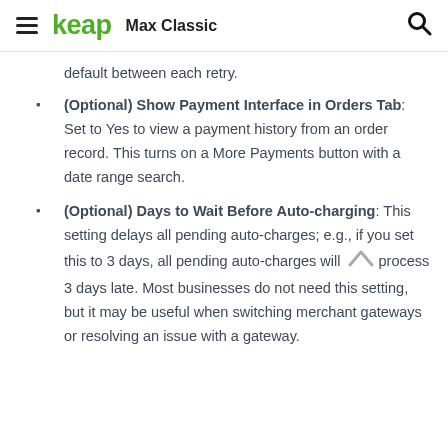keap  Max Classic
default between each retry.
(Optional) Show Payment Interface in Orders Tab: Set to Yes to view a payment history from an order record. This turns on a More Payments button with a date range search.
(Optional) Days to Wait Before Auto-charging: This setting delays all pending auto-charges; e.g., if you set this to 3 days, all pending auto-charges will process 3 days late. Most businesses do not need this setting, but it may be useful when switching merchant gateways or resolving an issue with a gateway.